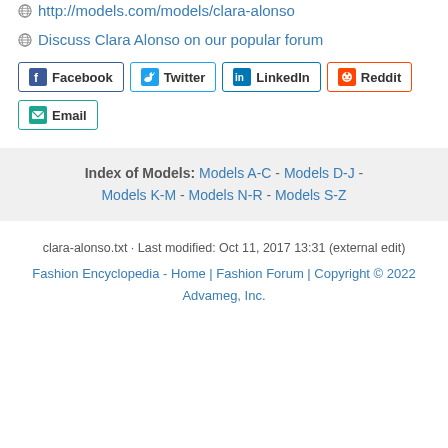http://models.com/models/clara-alonso
Discuss Clara Alonso on our popular forum
Facebook  Twitter  LinkedIn  Reddit  Email
Index of Models: Models A-C - Models D-J - Models K-M - Models N-R - Models S-Z
clara-alonso.txt · Last modified: Oct 11, 2017 13:31 (external edit)
Fashion Encyclopedia - Home | Fashion Forum | Copyright © 2022 Advameg, Inc.